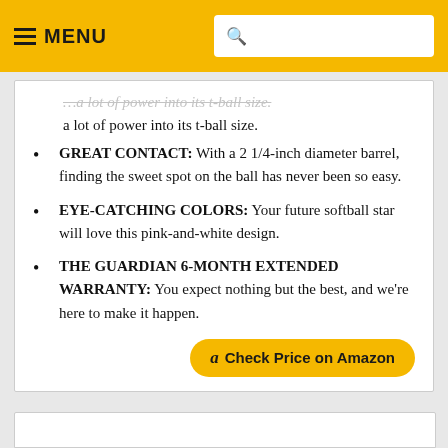MENU  [search bar]
...a lot of power into its t-ball size.
GREAT CONTACT: With a 2 1/4-inch diameter barrel, finding the sweet spot on the ball has never been so easy.
EYE-CATCHING COLORS: Your future softball star will love this pink-and-white design.
THE GUARDIAN 6-MONTH EXTENDED WARRANTY: You expect nothing but the best, and we're here to make it happen.